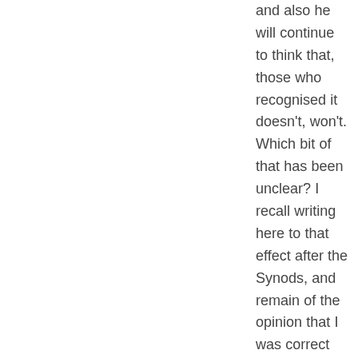and also he will continue to think that, those who recognised it doesn't, won't. Which bit of that has been unclear? I recall writing here to that effect after the Synods, and remain of the opinion that I was correct then in divining what the Pope intended. Those who insist that in allowing room for more pastoral discernment in unprecedented circumstances = he will